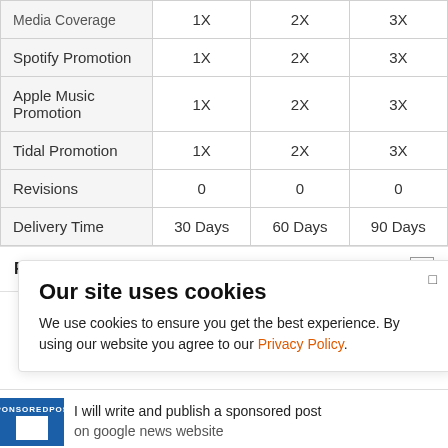|  | 1X | 2X | 3X |
| --- | --- | --- | --- |
| Media Coverage | 1X | 2X | 3X |
| Spotify Promotion | 1X | 2X | 3X |
| Apple Music Promotion | 1X | 2X | 3X |
| Tidal Promotion | 1X | 2X | 3X |
| Revisions | 0 | 0 | 0 |
| Delivery Time | 30 Days | 60 Days | 90 Days |
Reviews ★ 5.0 (5)
Our site uses cookies
We use cookies to ensure you get the best experience. By using our website you agree to our Privacy Policy.
I will write and publish a sponsored post on google news website